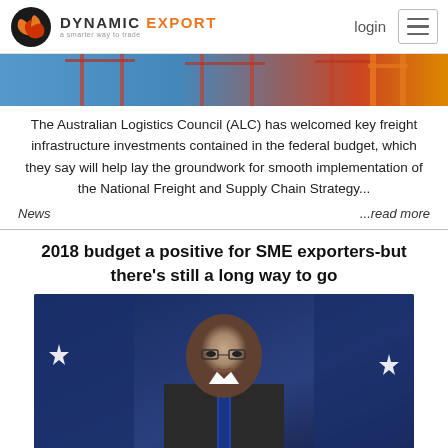DYNAMIC EXPORT — a smarter way to trade | login
[Figure (photo): Partial view of freight/shipping infrastructure at a port, cranes visible]
The Australian Logistics Council (ALC) has welcomed key freight infrastructure investments contained in the federal budget, which they say will help lay the groundwork for smooth implementation of the National Freight and Supply Chain Strategy...
News   ...read more
2018 budget a positive for SME exporters-but there's still a long way to go
[Figure (photo): Photo of a man in a suit (Scott Morrison) speaking at a press conference with Australian flags in the background]
The 2018 budget contains positive measures for SME